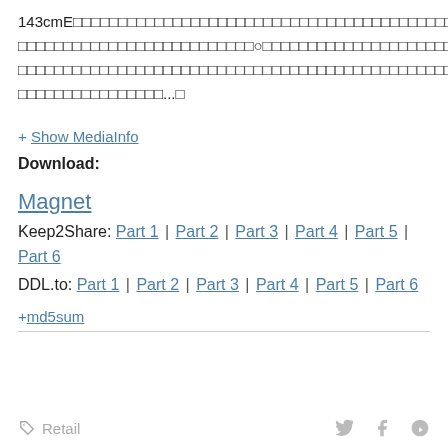143cmE□□□□□□□□□□□□□□□□□□□□□□□□□□□□□□□□□□□□□□□□□□□□□□□□□□□□□□□□□□□□□□□□□□□□□□□□□□□□□□□□□□□□□□□□□□□□□□□□□□□□□□□□□□□□□□□□□□□□□□□□□□□□□□□□□...□
+ Show MediaInfo
Download:
Magnet
Keep2Share: Part 1 | Part 2 | Part 3 | Part 4 | Part 5 | Part 6
DDL.to: Part 1 | Part 2 | Part 3 | Part 4 | Part 5 | Part 6
+ md5sum
Retail